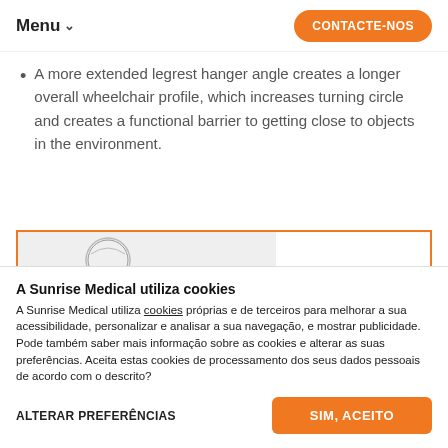Menu  CONTACTE-NOS
A more extended legrest hanger angle creates a longer overall wheelchair profile, which increases turning circle and creates a functional barrier to getting close to objects in the environment.
[Figure (illustration): Illustration of a person in a wheelchair with an extended legrest hanger angle, with text 'GREATER THAN 90°' on the right side. The image has an orange border.]
A Sunrise Medical utiliza cookies
A Sunrise Medical utiliza cookies próprias e de terceiros para melhorar a sua acessibilidade, personalizar e analisar a sua navegação, e mostrar publicidade. Pode também saber mais informação sobre as cookies e alterar as suas preferências. Aceita estas cookies de processamento dos seus dados pessoais de acordo com o descrito?
ALTERAR PREFERÊNCIAS
SIM, ACEITO